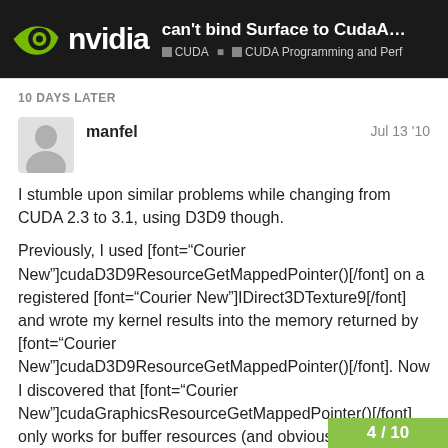can't bind Surface to CudaArray obt... | CUDA | CUDA Programming and Perf
10 DAYS LATER
manfel    Jul 13 '10
I stumble upon similar problems while changing from CUDA 2.3 to 3.1, using D3D9 though.

Previously, I used [font="Courier New"]cudaD3D9ResourceGetMappedPointer()[/font] on a registered [font="Courier New"]IDirect3DTexture9[/font] and wrote my kernel results into the memory returned by [font="Courier New"]cudaD3D9ResourceGetMappedPointer()[/font]. Now I discovered that [font="Courier New"]cudaGraphicsResourceGetMappedPointer()[/font] only works for buffer resources (and obviously NOT for textures). If I'm not mistaken, I need to